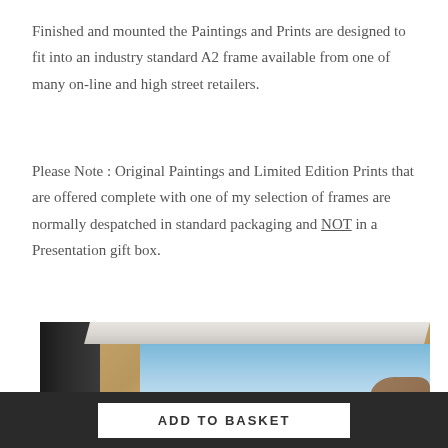Finished and mounted the Paintings and Prints are designed to fit into an industry standard A2 frame available from one of many on-line and high street retailers.
Please Note : Original Paintings and Limited Edition Prints that are offered complete with one of my selection of frames are normally despatched in standard packaging and NOT in a Presentation gift box.
[Figure (photo): Close-up photo of a framed print or painting showing a black frame edge, white mount/mat border, and a landscape image with blue sky and rocky coastline, displayed on a wooden surface.]
ADD TO BASKET